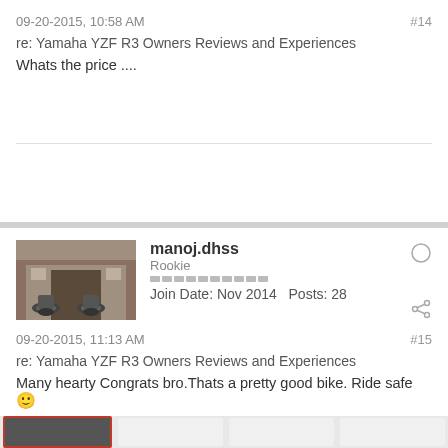09-20-2015, 10:58 AM
#14
re: Yamaha YZF R3 Owners Reviews and Experiences
Whats the price ....
[Figure (photo): User avatar showing motorcycles in front of a building]
manoj.dhss
Rookie
Join Date: Nov 2014  Posts: 28
09-20-2015, 11:13 AM
#15
re: Yamaha YZF R3 Owners Reviews and Experiences
Many hearty Congrats bro.Thats a pretty good bike. Ride safe 🙂
I don't like people riding fast and that's why I overtake them